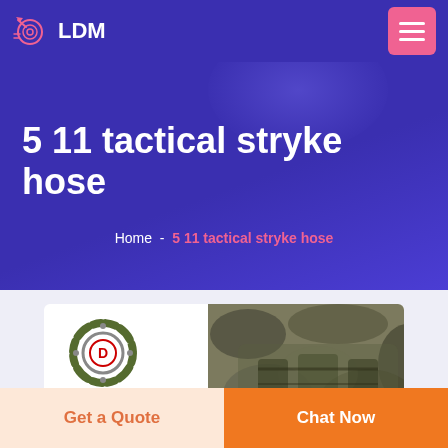LDM
5 11 tactical stryke hose
Home - 5 11 tactical stryke hose
[Figure (logo): DEEKON brand logo with circular camouflage target emblem and red D in center, followed by camouflage military gear product image]
Get a Quote
Chat Now